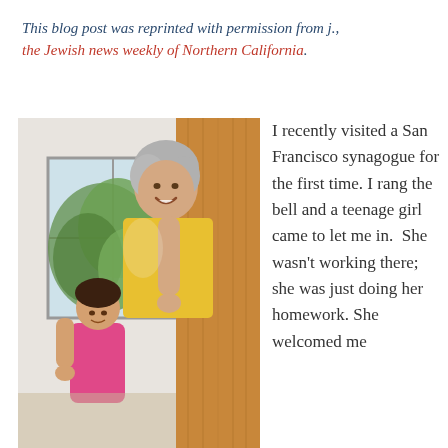This blog post was reprinted with permission from j., the Jewish news weekly of Northern California.
[Figure (photo): An older woman with gray hair in a yellow top peeking around a wooden door, smiling. A young child in a pink top is visible in the background.]
I recently visited a San Francisco synagogue for the first time. I rang the bell and a teenage girl came to let me in.  She wasn't working there; she was just doing her homework. She welcomed me